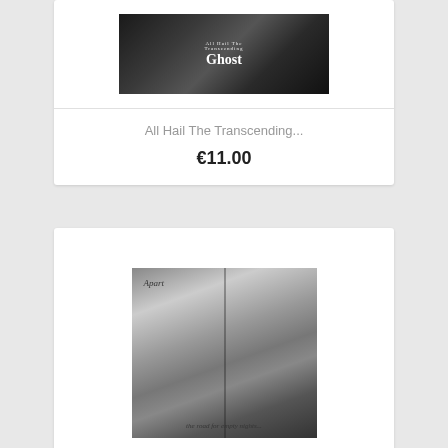[Figure (photo): Album cover for 'All Hail The Transcending Ghost' — dark monochrome image with gothic text logo on dark smoky background]
All Hail The Transcending...
€11.00
[Figure (photo): Album cover showing sheer curtains with light filtering through, with cursive script text at top and bottom, black and white/sepia tone]
Apart here The Empty night...